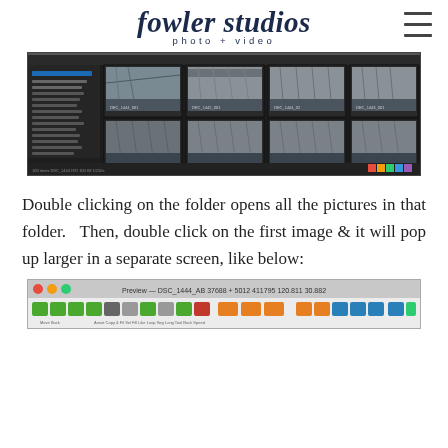[Figure (logo): Fowler Studios photo + video logo in dark navy script font with hamburger menu icon top right]
[Figure (screenshot): Screenshot of Adobe Lightroom or similar photo editing software showing grid view of beach pier photos, dark interface with sidebar panel on left showing folder list and multiple thumbnail images of pier/beach scenes]
Double clicking on the folder opens all the pictures in that folder.  Then, double click on the first image & it will pop up larger in a separate screen, like below:
[Figure (screenshot): Screenshot of a Mac application preview window showing toolbar with navigation buttons and file name in title bar]